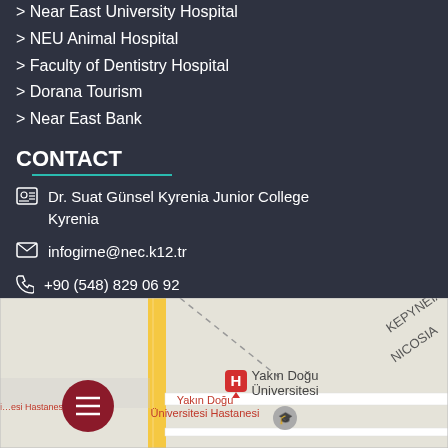> Near East University Hospital
> NEU Animal Hospital
> Faculty of Dentistry Hospital
> Dorana Tourism
> Near East Bank
CONTACT
Dr. Suat Günsel Kyrenia Junior College Kyrenia
infogirne@nec.k12.tr
+90 (548) 829 06 92
OUR LOCATION
[Figure (map): Google Maps screenshot showing Yakın Doğu Üniversitesi (Near East University) and Yakın Doğu Üniversitesi Hastanesi (hospital) in Kyrenia/Girne area, with roads and labels including KEPYNEIA, NICOSIA]